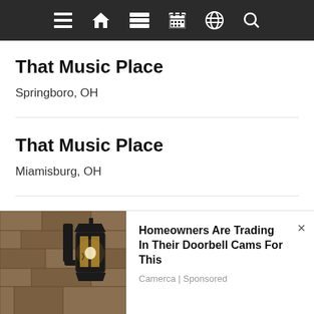Navigation bar with menu, home, list, calendar, globe, and search icons
That Music Place
Springboro, OH
That Music Place
Miamisburg, OH
The Academy at Minds in Motion
Springboro, OH
[Figure (photo): Advertisement banner showing a wall-mounted outdoor lantern/light fixture on a stone wall. Text reads: Homeowners Are Trading In Their Doorbell Cams For This. Camerca | Sponsored.]